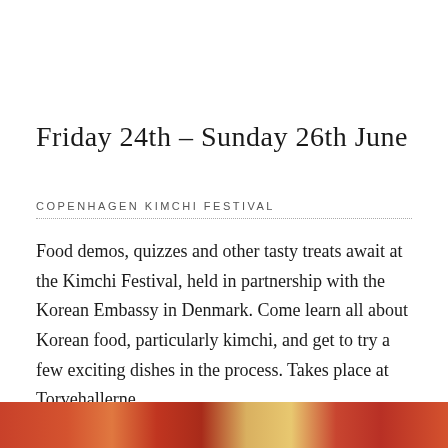Friday 24th – Sunday 26th June
COPENHAGEN KIMCHI FESTIVAL
Food demos, quizzes and other tasty treats await at the Kimchi Festival, held in partnership with the Korean Embassy in Denmark. Come learn all about Korean food, particularly kimchi, and get to try a few exciting dishes in the process. Takes place at Torvehallerne.
[Figure (photo): Bottom strip showing colorful Korean food, appears to be kimchi or similar Korean dishes in warm red and orange tones.]